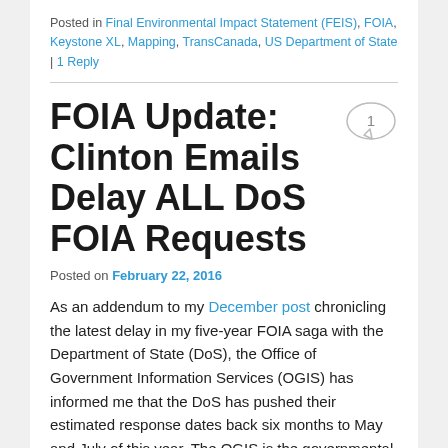Posted in Final Environmental Impact Statement (FEIS), FOIA, Keystone XL, Mapping, TransCanada, US Department of State | 1 Reply
FOIA Update: Clinton Emails Delay ALL DoS FOIA Requests
Posted on February 22, 2016
As an addendum to my December post chronicling the latest delay in my five-year FOIA saga with the Department of State (DoS), the Office of Government Information Services (OGIS) has informed me that the DoS has pushed their estimated response dates back six months to May and July of this year. The OGIS is the governmental body tasked with overseeing FOIA